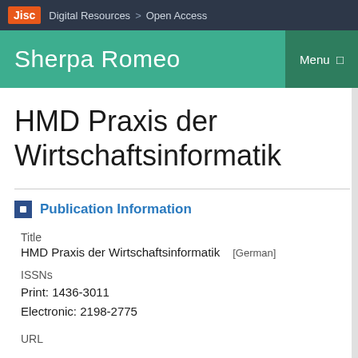Jisc | Digital Resources > Open Access
Sherpa Romeo
HMD Praxis der Wirtschaftsinformatik
Publication Information
Title
HMD Praxis der Wirtschaftsinformatik [German]
ISSNs
Print: 1436-3011
Electronic: 2198-2775
URL